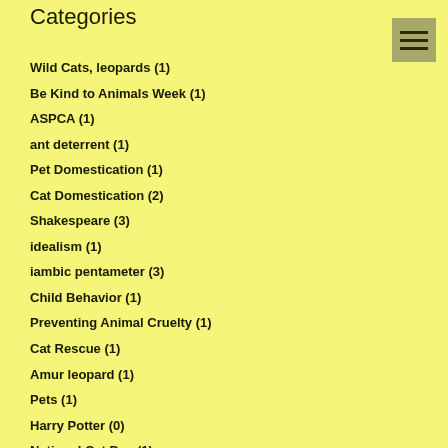Categories
Wild Cats, leopards (1)
Be Kind to Animals Week (1)
ASPCA (1)
ant deterrent (1)
Pet Domestication (1)
Cat Domestication (2)
Shakespeare (3)
idealism (1)
iambic pentameter (3)
Child Behavior (1)
Preventing Animal Cruelty (1)
Cat Rescue (1)
Amur leopard (1)
Pets (1)
Harry Potter (0)
National Cat Day (1)